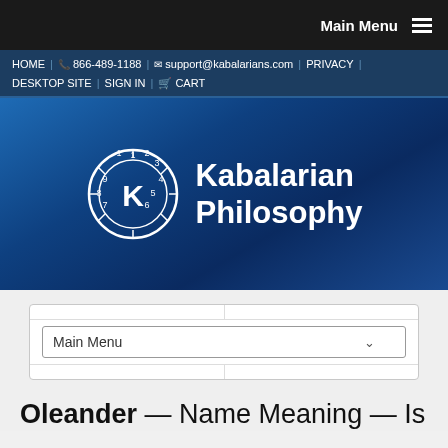Main Menu
HOME | 866-489-1188 | support@kabalarians.com | PRIVACY | DESKTOP SITE | SIGN IN | CART
[Figure (logo): Kabalarian Philosophy logo: circular numerology wheel with K in center, white on blue background, with text 'Kabalarian Philosophy']
Main Menu (dropdown)
Oleander — Name Meaning — Is